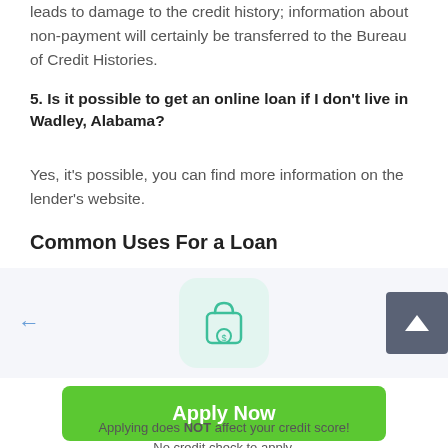leads to damage to the credit history; information about non-payment will certainly be transferred to the Bureau of Credit Histories.
5. Is it possible to get an online loan if I don't live in Wadley, Alabama?
Yes, it's possible, you can find more information on the lender's website.
Common Uses For a Loan
[Figure (illustration): Carousel showing a shopping bag icon with a dollar sign, with left and right navigation arrows and a scroll-up button in the top right corner]
Apply Now
Applying does NOT affect your credit score!
No credit check to apply.